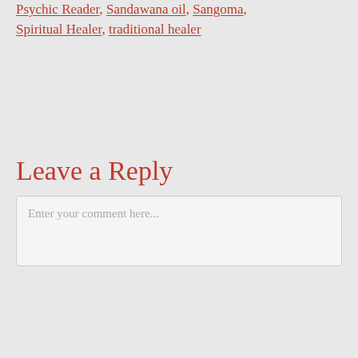Psychic Reader, Sandawana oil, Sangoma, Spiritual Healer, traditional healer
Leave a Reply
Enter your comment here...